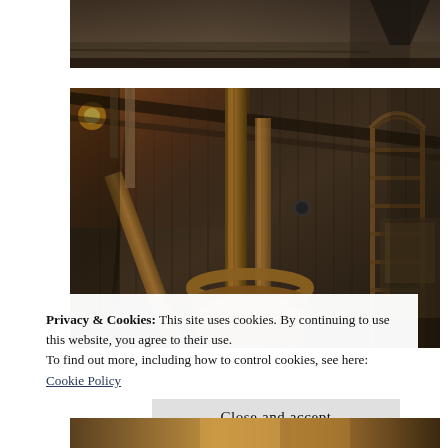[Figure (photo): Partial view of industrial interior, dark warehouse with metal fixtures, top portion cropped]
[Figure (photo): Interior of industrial distillery building showing tall copper/metal pipe columns, corrugated metal walls, coiled pipes at base, ladder structure on right side, warm amber lighting from left]
Privacy & Cookies: This site uses cookies. By continuing to use this website, you agree to their use.
To find out more, including how to control cookies, see here:
Cookie Policy
[Figure (photo): Bottom edge of another industrial/distillery photo, partially visible]